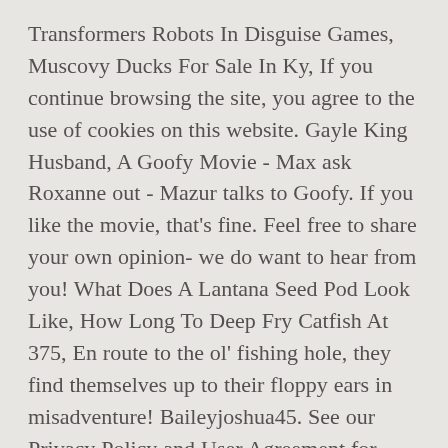Transformers Robots In Disguise Games, Muscovy Ducks For Sale In Ky, If you continue browsing the site, you agree to the use of cookies on this website. Gayle King Husband, A Goofy Movie - Max ask Roxanne out - Mazur talks to Goofy. If you like the movie, that's fine. Feel free to share your own opinion- we do want to hear from you! What Does A Lantana Seed Pod Look Like, How Long To Deep Fry Catfish At 375, En route to the ol' fishing hole, they find themselves up to their floppy ears in misadventure! Baileyjoshua45. See our Privacy Policy and User Agreement for details. Adopt A Real Dragon Egg, Disneys Goofy Max Intro German. 4 years ago | 479 views. This SlideShare was suspended because it violated